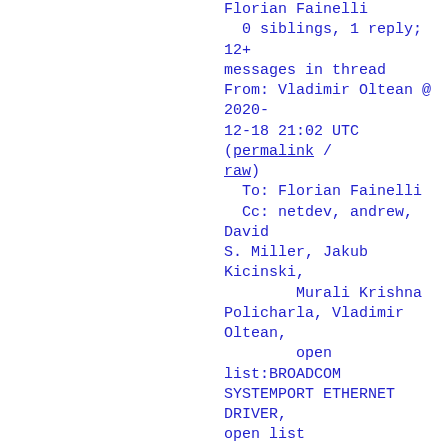Florian Fainelli
  0 siblings, 1 reply; 12+ messages in thread
From: Vladimir Oltean @ 2020-12-18 21:02 UTC (permalink / raw)
  To: Florian Fainelli
  Cc: netdev, andrew, David S. Miller, Jakub Kicinski,
        Murali Krishna Policharla, Vladimir Oltean,
        open list:BROADCOM SYSTEMPORT ETHERNET DRIVER,
open list

On Fri, Dec 18, 2020 at 12:54:33PM -0800, Florian Fainelli wrote:
> On 12/18/20 12:52 PM, Vladimir Oltean wrote:
> > On Fri, Dec 18, 2020 at 12:30:20PM -0800, Florian Fainelli wrote:
> >> On 12/18/20 12:24 PM, Vladimir Oltean wrote:
> >>> Hi Florian,
> >>>
> >>> On Fri, Dec 18, 2020 at 09:38:43AM -0800, Florian Fainelli wrote:
> >>>> The driver is indeed...